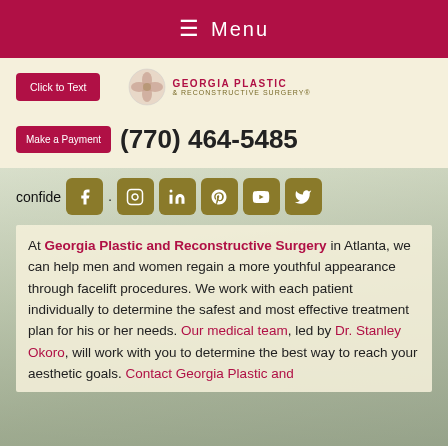☰ Menu
[Figure (logo): Georgia Plastic & Reconstructive Surgery logo with circular floral emblem]
(770) 464-5485
confidence.
At Georgia Plastic and Reconstructive Surgery in Atlanta, we can help men and women regain a more youthful appearance through facelift procedures. We work with each patient individually to determine the safest and most effective treatment plan for his or her needs. Our medical team, led by Dr. Stanley Okoro, will work with you to determine the best way to reach your aesthetic goals. Contact Georgia Plastic and